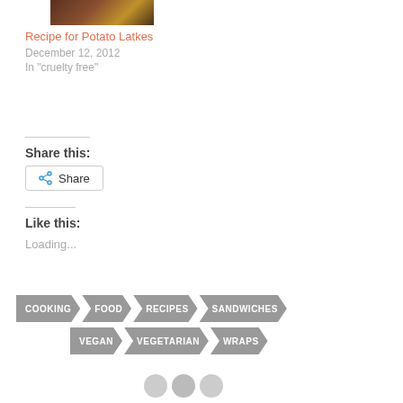[Figure (photo): Food photo showing potato latkes on a dark plate]
Recipe for Potato Latkes
December 12, 2012
In "cruelty free"
Share this:
Share
Like this:
Loading...
COOKING
FOOD
RECIPES
SANDWICHES
VEGAN
VEGETARIAN
WRAPS